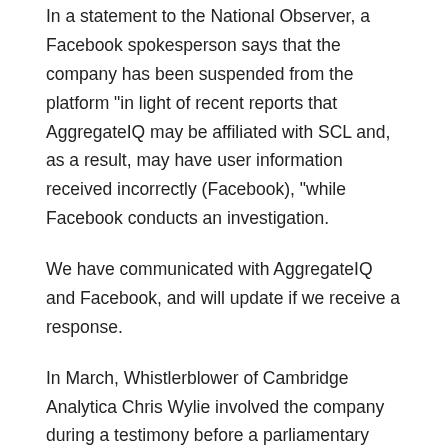In a statement to the National Observer, a Facebook spokesperson says that the company has been suspended from the platform "in light of recent reports that AggregateIQ may be affiliated with SCL and, as a result, may have user information received incorrectly (Facebook), "while Facebook conducts an investigation.
We have communicated with AggregateIQ and Facebook, and will update if we receive a response.
In March, Whistlerblower of Cambridge Analytica Chris Wylie involved the company during a testimony before a parliamentary committee, saying that the company used cooperated with and used information from Cambridge Analytica during the British Leave campaign, and that it could have helped the campaigns circumvent spending limits policies. On its website, AggregateIQ describes itself as a "digital advertising, web development and software company based in Canada." It also says that "it has never been and is not part of Cambridge Analytica", or its parent company, SCL. The company also states that it has never